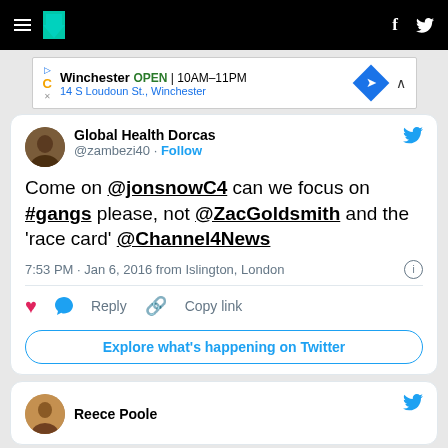HuffPost navigation bar with hamburger menu, logo, Facebook and Twitter icons
[Figure (screenshot): Advertisement banner: Winchester OPEN 10AM-11PM, 14 S Loudoun St., Winchester]
Global Health Dorcas @zambezi40 · Follow
Come on @jonsnowC4 can we focus on #gangs please, not @ZacGoldsmith and the 'race card' @Channel4News
7:53 PM · Jan 6, 2016 from Islington, London
♥ Reply Copy link
Explore what's happening on Twitter
Reece Poole